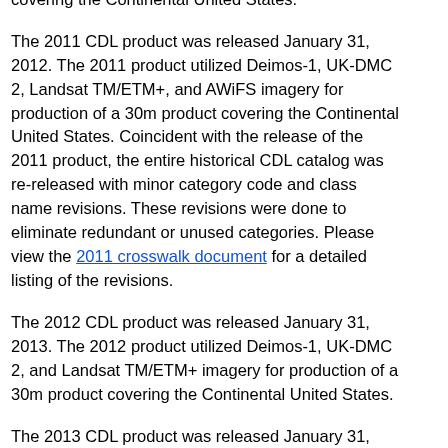service. The 2010 product utilized Landsat TM/ETM+ and AWiFS imagery for production of a 30m product covering the Continental United States.
The 2011 CDL product was released January 31, 2012. The 2011 product utilized Deimos-1, UK-DMC 2, Landsat TM/ETM+, and AWiFS imagery for production of a 30m product covering the Continental United States. Coincident with the release of the 2011 product, the entire historical CDL catalog was re-released with minor category code and class name revisions. These revisions were done to eliminate redundant or unused categories. Please view the 2011 crosswalk document for a detailed listing of the revisions.
The 2012 CDL product was released January 31, 2013. The 2012 product utilized Deimos-1, UK-DMC 2, and Landsat TM/ETM+ imagery for production of a 30m product covering the Continental United States.
The 2013 CDL product was released January 31, 2014. The 2013 product utilized Deimos-1, UK-DMC 2, and Landsat 8 imagery for production of a 30m product covering the